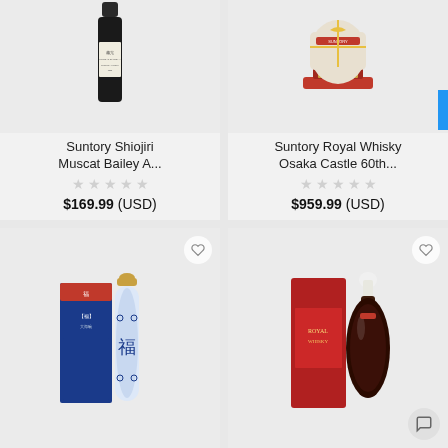[Figure (photo): Suntory Shiojiri Muscat Bailey A wine bottle, dark glass, white label]
Suntory Shiojiri Muscat Bailey A...
$169.99 (USD)
[Figure (photo): Suntory Royal Whisky Osaka Castle 60th anniversary bottle in decorative packaging]
Suntory Royal Whisky Osaka Castle 60th...
$959.99 (USD)
[Figure (photo): Blue and white Chinese-style bottle with gold cap and box with red band (福 character visible)]
[Figure (photo): Dark round bottle with white stopper, beside red gift box]